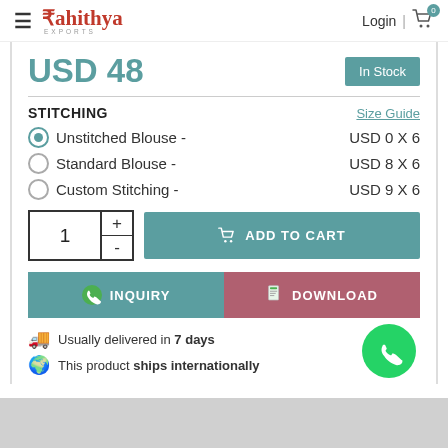Rahithya Exports | Login | 0
USD 48
In Stock
STITCHING
Size Guide
Unstitched Blouse - USD 0 X 6
Standard Blouse - USD 8 X 6
Custom Stitching - USD 9 X 6
ADD TO CART
INQUIRY
DOWNLOAD
Usually delivered in 7 days
This product ships internationally